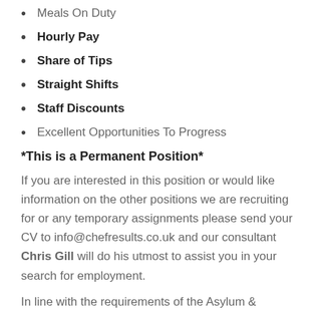Meals On Duty
Hourly Pay
Share of Tips
Straight Shifts
Staff Discounts
Excellent Opportunities To Progress
*This is a Permanent Position*
If you are interested in this position or would like information on the other positions we are recruiting for or any temporary assignments please send your CV to info@chefresults.co.uk and our consultant Chris Gill will do his utmost to assist you in your search for employment.
In line with the requirements of the Asylum &